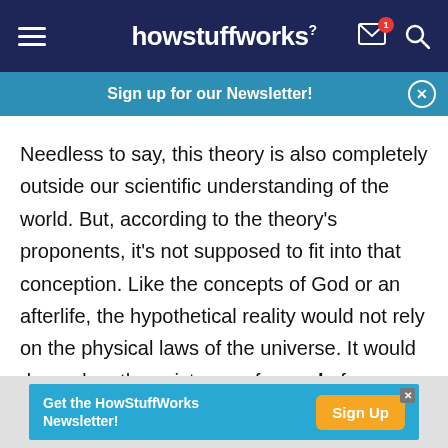howstuffworks
Sign up for our Newsletter!
Needless to say, this theory is also completely outside our scientific understanding of the world. But, according to the theory's proponents, it's not supposed to fit into that conception. Like the concepts of God or an afterlife, the hypothetical reality would not rely on the physical laws of the universe. It would depend on the existence of a soul of some sort.
Get the HowStuffWorks Newsletter! Sign Up